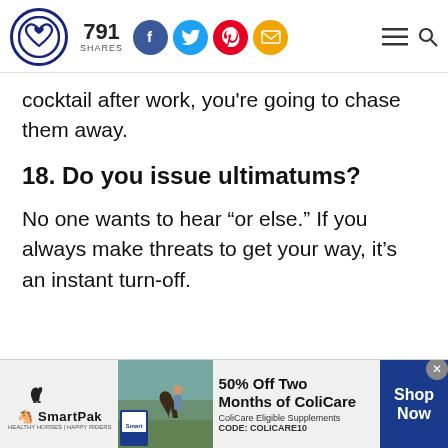791 SHARES | Social media share icons | Menu | Search
cocktail after work, you're going to chase them away.
18. Do you issue ultimatums?
No one wants to hear “or else.” If you always make threats to get your way, it’s an instant turn-off.
[Figure (infographic): SmartPak advertisement banner: 50% Off Two Months of ColiCare, ColiCare Eligible Supplements, CODE: COLICARE10, Shop Now button. Shows SmartPak logo and a photo of a horse with a person.]